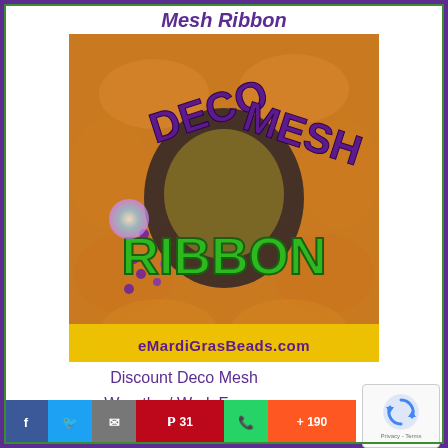Mesh Ribbon
[Figure (photo): Deco Mesh Ribbon promotional image showing a colorful wreath with text 'DECO MESH RIBBON' in purple and green letters, with eMardiGrasBeads.com URL at the bottom]
Discount Deco Mesh
Wreaths / Work Forms
Deco Mesh Tubing
[Figure (logo): Google reCAPTCHA badge with spinning arrows icon and Privacy - Terms text]
[Figure (infographic): Social sharing bar with Facebook, Twitter, Email, Pinterest (31), WhatsApp, and share (+190) buttons]